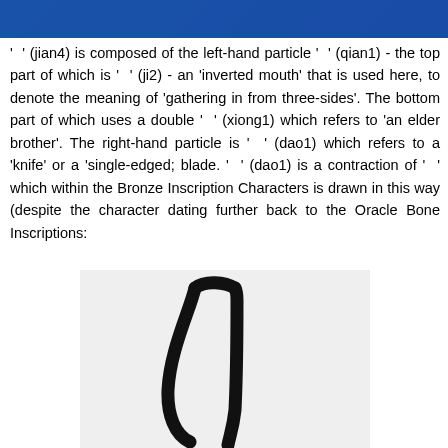[Figure (photo): Top banner image with blue background, partially cropped]
' '(jian4) is composed of the left-hand particle ' '(qian1) - the top part of which is ' '(ji2) - an 'inverted mouth' that is used here, to denote the meaning of 'gathering in from three-sides'. The bottom part of which uses a double ' '(xiong1) which refers to 'an elder brother'. The right-hand particle is ' '(dao1) which refers to a 'knife' or a 'single-edged; blade. ' '(dao1) is a contraction of ' ' which within the Bronze Inscription Characters is drawn in this way (despite the character dating further back to the Oracle Bone Inscriptions:
[Figure (illustration): Black and white drawing of a Chinese character stroke/radical resembling a curved blade or knife form, shown on light grey background]